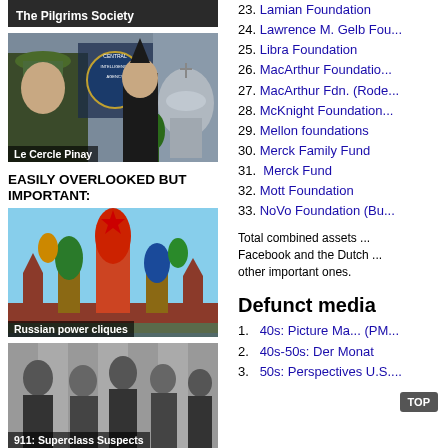[Figure (photo): Photo collage: The Pilgrims Society banner - top image (partially visible)]
[Figure (photo): Photo of men with CIA logo and Vatican dome - labeled 'Le Cercle Pinay']
EASILY OVERLOOKED BUT IMPORTANT:
[Figure (photo): Photo of Moscow Kremlin and St. Basil's Cathedral - labeled 'Russian power cliques']
[Figure (photo): Black and white photo of people at a formal meeting - labeled '911: Superclass Suspects']
23. Lamian Foundation
24. Lawrence M. Gelb Fou...
25. Libra Foundation
26. MacArthur Foundatio...
27. MacArthur Fdn. (Rode...
28. McKnight Foundation...
29. Mellon foundations
30. Merck Family Fund
31. Merck Fund
32. Mott Foundation
33. NoVo Foundation (Bu...
Total combined assets ... Facebook and the Dutch ... other important ones.
Defunct media
1. 40s: Picture Ma... (PM...
2. 40s-50s: Der Monat
3. 50s: Perspectives U.S....